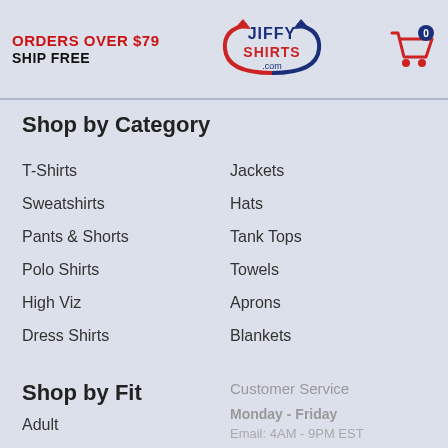ORDERS OVER $79 SHIP FREE | JiffyShirts.com | Cart: 0
Shop by Category
T-Shirts
Sweatshirts
Pants & Shorts
Polo Shirts
High Viz
Dress Shirts
Jackets
Hats
Tank Tops
Towels
Aprons
Blankets
Shop by Fit
Adult
Women
Men
Customer Service
Monday - Friday
Email: 4AM - 9PM EST
Chat: 4AM - 8PM EST
Saturday - Sunday